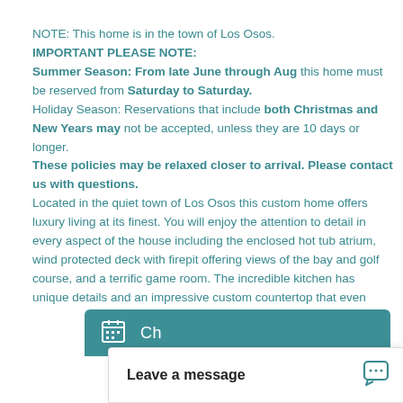NOTE: This home is in the town of Los Osos. IMPORTANT PLEASE NOTE: Summer Season: From late June through Aug this home must be reserved from Saturday to Saturday. Holiday Season: Reservations that include both Christmas and New Years may not be accepted, unless they are 10 days or longer. These policies may be relaxed closer to arrival. Please contact us with questions. Located in the quiet town of Los Osos this custom home offers luxury living at its finest. You will enjoy the attention to detail in every aspect of the house including the enclosed hot tub atrium, wind protected deck with firepit offering views of the bay and golf course, and a terrific game room. The incredible kitchen has unique details and an impressive custom countertop that even